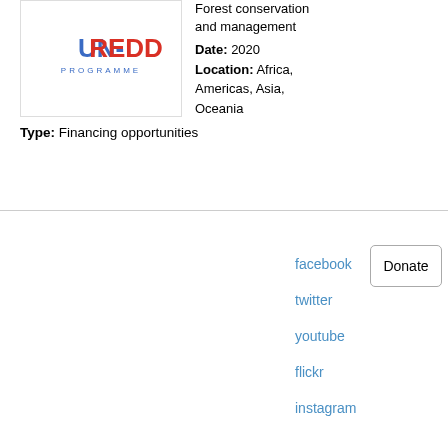[Figure (logo): UN-REDD Programme logo with blue and red text and 'PROGRAMME' subtitle]
Forest conservation and management
Date: 2020
Location: Africa, Americas, Asia, Oceania
Type: Financing opportunities
facebook
twitter
youtube
flickr
instagram
Donate